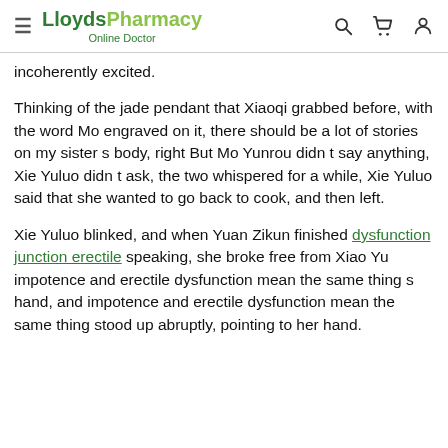LloydsPharmacy Online Doctor
incoherently excited.
Thinking of the jade pendant that Xiaoqi grabbed before, with the word Mo engraved on it, there should be a lot of stories on my sister s body, right But Mo Yunrou didn t say anything, Xie Yuluo didn t ask, the two whispered for a while, Xie Yuluo said that she wanted to go back to cook, and then left.
Xie Yuluo blinked, and when Yuan Zikun finished dysfunction junction erectile speaking, she broke free from Xiao Yu impotence and erectile dysfunction mean the same thing s hand, and impotence and erectile dysfunction mean the same thing stood up abruptly, pointing to her hand.